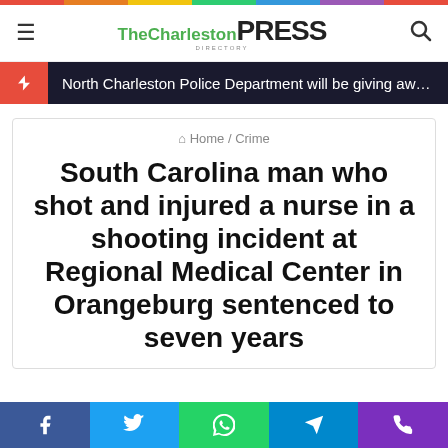TheCharleston PRESS
North Charleston Police Department will be giving away sc...
Home / Crime
South Carolina man who shot and injured a nurse in a shooting incident at Regional Medical Center in Orangeburg sentenced to seven years